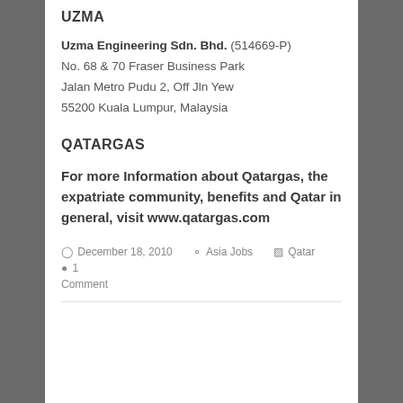UZMA
Uzma Engineering Sdn. Bhd. (514669-P)
No. 68 & 70 Fraser Business Park
Jalan Metro Pudu 2, Off Jln Yew
55200 Kuala Lumpur, Malaysia
QATARGAS
For more Information about Qatargas, the expatriate community, benefits and Qatar in general, visit www.qatargas.com
December 18, 2010   Asia Jobs   Qatar   1 Comment